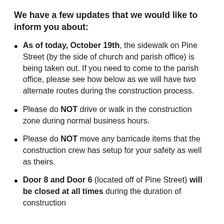We have a few updates that we would like to inform you about:
As of today, October 19th, the sidewalk on Pine Street (by the side of church and parish office) is being taken out. If you need to come to the parish office, please see how below as we will have two alternate routes during the construction process.
Please do NOT drive or walk in the construction zone during normal business hours.
Please do NOT move any barricade items that the construction crew has setup for your safety as well as theirs.
Door 8 and Door 6 (located off of Pine Street) will be closed at all times during the duration of construction